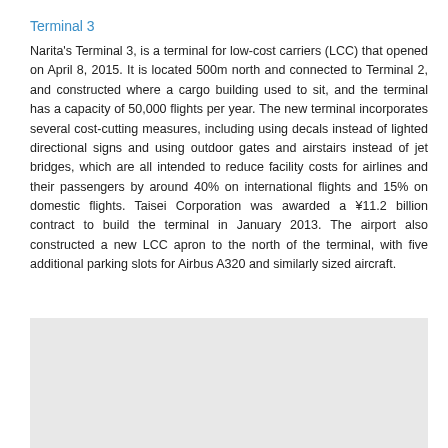Terminal 3
Narita's Terminal 3, is a terminal for low-cost carriers (LCC) that opened on April 8, 2015. It is located 500m north and connected to Terminal 2, and constructed where a cargo building used to sit, and the terminal has a capacity of 50,000 flights per year. The new terminal incorporates several cost-cutting measures, including using decals instead of lighted directional signs and using outdoor gates and airstairs instead of jet bridges, which are all intended to reduce facility costs for airlines and their passengers by around 40% on international flights and 15% on domestic flights. Taisei Corporation was awarded a ¥11.2 billion contract to build the terminal in January 2013. The airport also constructed a new LCC apron to the north of the terminal, with five additional parking slots for Airbus A320 and similarly sized aircraft.
[Figure (photo): Gray placeholder image area at the bottom of the page]